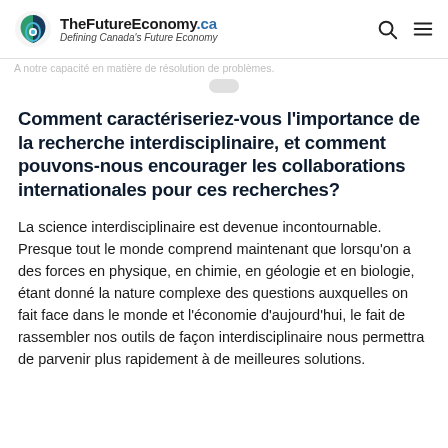TheFutureEconomy.ca — Defining Canada's Future Economy
Comment caractériseriez-vous l'importance de la recherche interdisciplinaire, et comment pouvons-nous encourager les collaborations internationales pour ces recherches?
La science interdisciplinaire est devenue incontournable. Presque tout le monde comprend maintenant que lorsqu'on a des forces en physique, en chimie, en géologie et en biologie, étant donné la nature complexe des questions auxquelles on fait face dans le monde et l'économie d'aujourd'hui, le fait de rassembler nos outils de façon interdisciplinaire nous permettra de parvenir plus rapidement à de meilleures solutions.